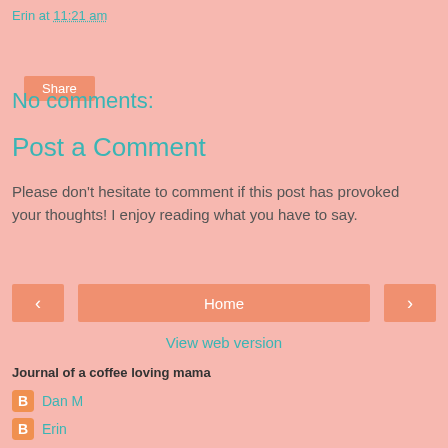Erin at 11:21 am
Share
No comments:
Post a Comment
Please don't hesitate to comment if this post has provoked your thoughts! I enjoy reading what you have to say.
< Home >
View web version
Journal of a coffee loving mama
Dan M
Erin